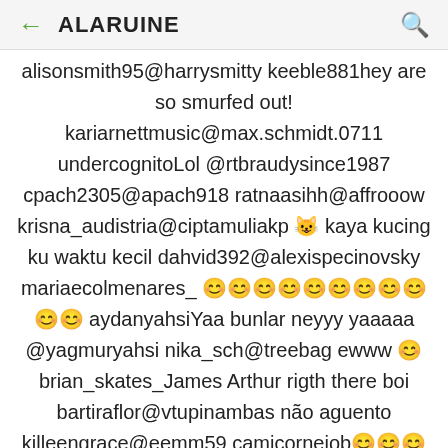← ALARUINE 🔍
alisonsmith95@harrysmitty keeble881hey are so smurfed out! kariarnettmusic@max.schmidt.0711 undercognitoLol @rtbraudysince1987 cpach2305@apach918 ratnaasihh@affrooow krisna_audistria@ciptamuliakp 😺 kaya kucing ku waktu kecil dahvid392@alexispecinovsky mariaecolmenares_ 😊😊😊😊😊😊😊😊😊😊😊 aydanyahsiYaa bunlar neyyy yaaaaa @yagmuryahsi nika_sch@treebag ewww 😊 brian_skates_James Arthur rigth there boi bartiraflor@vtupinambas não aguento killeengrace@eemm59 camicornejob😊😊😊😊😊😊 😊😊 marina_mcpherson@kasniusbuni